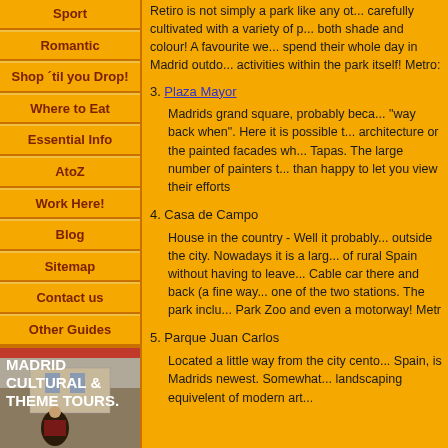Sport
Romantic
Shop 'til you Drop!
Where to Eat
Essential Info
AtoZ
Work Here!
Blog
Sitemap
Contact us
Other Guides
[Figure (photo): Madrid Cultural & Theme Tours advertisement with photo of person in traditional dress]
Retiro is not simply a park like any ot... carefully cultivated with a variety of p... both shade and colour! A favourite we... spend their whole day in Madrid outdo... activities within the park itself! Metro:
3. Plaza Mayor - Madrids grand square, probably beca... "way back when". Here it is possible t... architecture or the painted facades wh... Tapas. The large number of painters t... than happy to let you view their efforts
4. Casa de Campo - House in the country - Well it probably... outside the city. Nowadays it is a large... of rural Spain without having to leave... Cable car there and back (a fine way... one of the two stations. The park inclu... Park Zoo and even a motorway! Metr
5. Parque Juan Carlos - Located a little way from the city cento... Spain, is Madrids newest. Somewhat... landscaping equivelent of modern art...